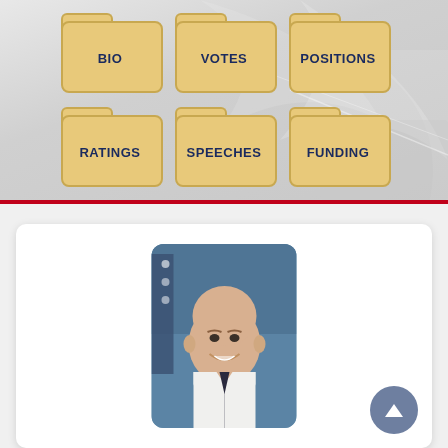[Figure (infographic): Six folder icons arranged in two rows of three: BIO, VOTES, POSITIONS (top row), RATINGS, SPEECHES, FUNDING (bottom row) on a gray background]
[Figure (photo): Official portrait photo of a bald, smiling white man in a dark suit with white shirt and tie, in front of a US flag and blue background. Displayed in a white card on a light gray background.]